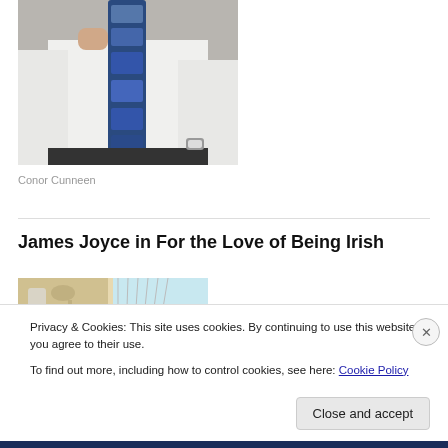[Figure (photo): A man in a white shirt with a decorated tie pointing upward, torso visible only]
Conor Cunneen
[Figure (photo): Partial view of a book cover for 'James Joyce in For the Love of Being Irish']
James Joyce in For the Love of Being Irish
Privacy & Cookies: This site uses cookies. By continuing to use this website, you agree to their use.
To find out more, including how to control cookies, see here: Cookie Policy
Close and accept